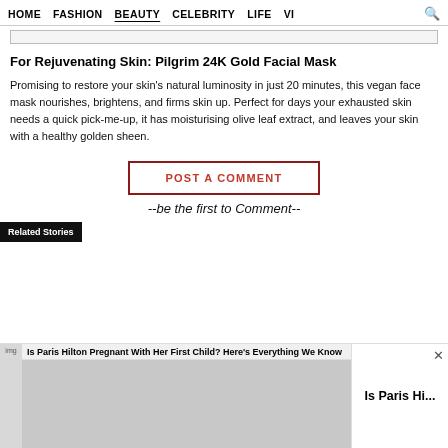HOME  FASHION  BEAUTY  CELEBRITY  LIFE  VI  🔍
For Rejuvenating Skin: Pilgrim 24K Gold Facial Mask
Promising to restore your skin's natural luminosity in just 20 minutes, this vegan face mask nourishes, brightens, and firms skin up. Perfect for days your exhausted skin needs a quick pick-me-up, it has moisturising olive leaf extract, and leaves your skin with a healthy golden sheen.
POST A COMMENT
--be the first to Comment--
Related Stories
Is Paris Hilton Pregnant With Her First Child? Here's Everything We Know
Is Paris Hi...